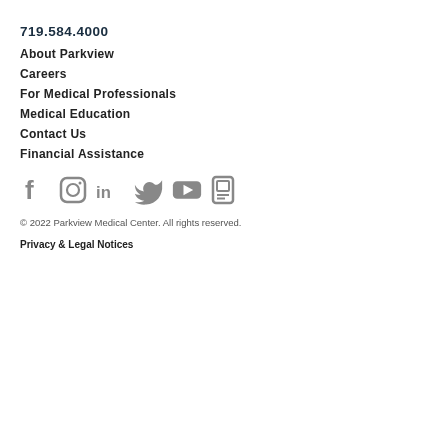719.584.4000
About Parkview
Careers
For Medical Professionals
Medical Education
Contact Us
Financial Assistance
[Figure (infographic): Social media icons: Facebook, Instagram, LinkedIn, Twitter, YouTube, and a portal/app icon, all in gray]
© 2022 Parkview Medical Center. All rights reserved.
Privacy & Legal Notices